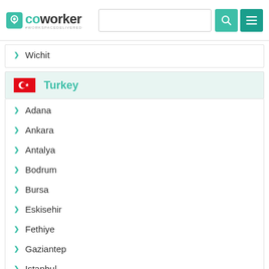coworker — #WORKSPACEDELIVERED
Wichit
Turkey
Adana
Ankara
Antalya
Bodrum
Bursa
Eskisehir
Fethiye
Gaziantep
Istanbul
Izmir
Izmit